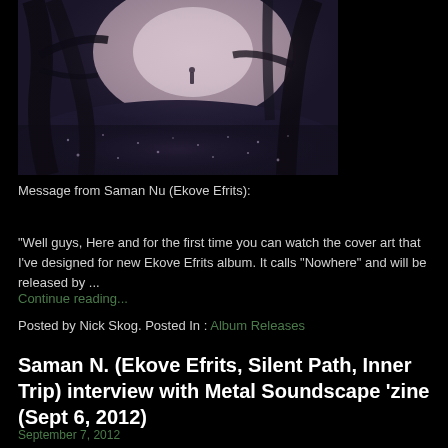[Figure (photo): A misty, atmospheric forest scene with dark trees silhouetted against a bright foggy background. A lone figure stands in the distance. The ground is covered with frost or snow, with a pinkish-purple light source visible. Dark, moody aesthetic consistent with metal/ambient music imagery.]
Message from Saman Nu (Ekove Efrits):
"Well guys, Here and for the first time you can watch the cover art that I've designed for new Ekove Efrits album. It calls "Nowhere" and will be released by ...
Continue reading...
Posted by Nick Skog. Posted In : Album Releases
Saman N. (Ekove Efrits, Silent Path, Inner Trip) interview with Metal Soundscape 'zine (Sept 6, 2012)
September 7, 2012